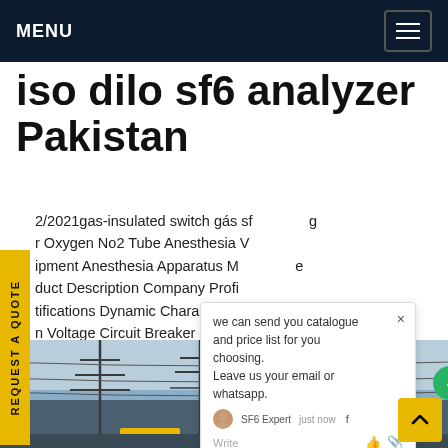MENU
iso dilo sf6 analyzer Pakistan
2/2021gas-insulated switch gás sf6 g r Oxygen No2 Tube Anesthesia V ipment Anesthesia Apparatus M e duct Description Company Profi tifications Dynamic Charact if n Voltage Circuit Breaker_ ga35t e lyzer Explosion-Proof Gas Meter for Nitrogen xide (NO2)_ SF6China sf6Get price
[Figure (photo): Photo of electrical substation with high-voltage towers and transmission lines against a blue sky, with yellow equipment visible at the bottom]